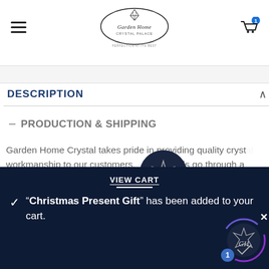[Figure (logo): Garden Home Crystal Palace logo - oval with diamond and cursive text, PERFECTION AT ITS BEST tagline]
DESCRIPTION
— PRODUCTION & SHIPPING
Garden Home Crystal takes pride in providing quality crystal workmanship to our customers. All crystals go through a final "bath" and shine procedure before we ship out our products. All our pieces are inspected and...
[Figure (logo): Garden Home GH circular dark badge logo]
Welcome to Garden Home Crystal Palace!
VIEW CART
"Christmas Present Gift" has been added to your cart.